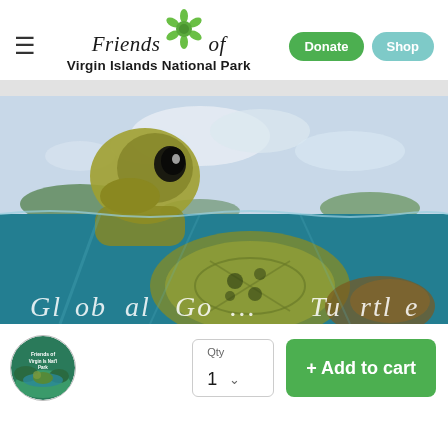Friends of Virgin Islands National Park — navigation with Donate and Shop buttons
[Figure (photo): Close-up split underwater/above-water photo of a sea turtle near the water surface, with text overlay at the bottom]
[Figure (photo): Circular thumbnail of Friends of Virgin Islands National Park logo]
Qty 1
+ Add to cart